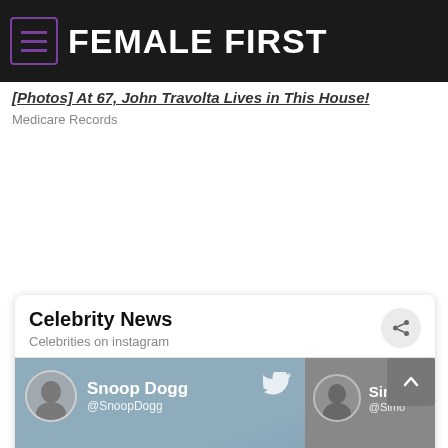FEMALE FIRST
[Photos] At 67, John Travolta Lives in This House!
Medicare Records
Celebrity News
Celebrities on instagram
[Figure (screenshot): Tweet card for Snoop Dogg (@SnoopDogg) with Twitter bird icon on a blue-grey background]
[Figure (screenshot): Partial tweet card for 'Simo' (@Simo...) on a dark grey background]